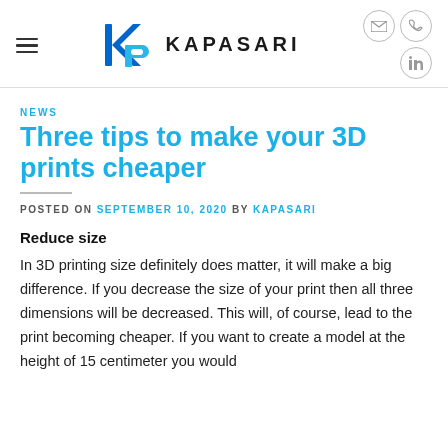KAPASARI
NEWS
Three tips to make your 3D prints cheaper
POSTED ON SEPTEMBER 10, 2020 BY KAPASARI
Reduce size
In 3D printing size definitely does matter, it will make a big difference. If you decrease the size of your print then all three dimensions will be decreased. This will, of course, lead to the print becoming cheaper. If you want to create a model at the height of 15 centimeter you would